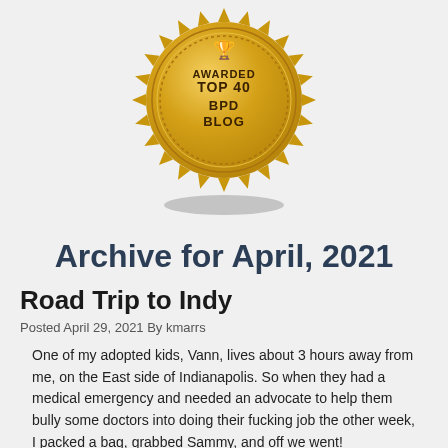[Figure (illustration): Gold seal/badge award reading 'AWARDED TOP 40 BPD BLOG' with decorative sunburst border and small trophy icon at top, with shadow beneath]
Archive for April, 2021
Road Trip to Indy
Posted April 29, 2021 By kmarrs
One of my adopted kids, Vann, lives about 3 hours away from me, on the East side of Indianapolis. So when they had a medical emergency and needed an advocate to help them bully some doctors into doing their fucking job the other week, I packed a bag, grabbed Sammy, and off we went!
I was out of work for a few more weeks, and Sammy's classes